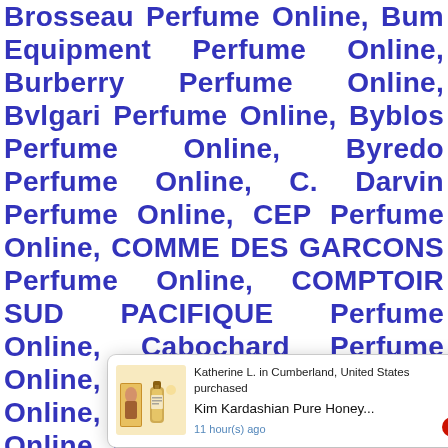Brosseau Perfume Online, Bum Equipment Perfume Online, Burberry Perfume Online, Bvlgari Perfume Online, Byblos Perfume Online, Byredo Perfume Online, C. Darvin Perfume Online, CEP Perfume Online, COMME DES GARCONS Perfume Online, COMPTOIR SUD PACIFIQUE Perfume Online, Cabochard Perfume Online, Cacharel Perfume Online, Caesars Perfume Online, Calgon Perfume Online, California Perfume Online, Calvin Klein Perfume Online, ... fume Online, ... fume Online, ... Online, ... cci Perfume Online, Caribbean Joe Perfume Online, Carlo Corinto Perfume Online, Carlo Corinti...
[Figure (other): Popup notification showing a product purchase: 'Katherine L. in Cumberland, United States purchased Kim Kardashian Pure Honey... 11 hour(s) ago' with product image of perfume bottles.]